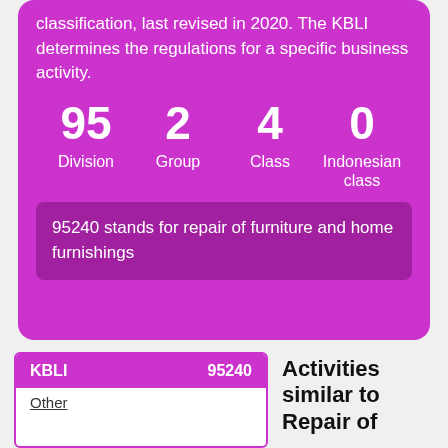classification, last revised in 2020. The KBLI determines the regulations for a specific business activity.
95 Division   2 Group   4 Class   0 Indonesian class
95240 stands for repair of furniture and home furnishings
| KBLI | 95240 |
| --- | --- |
|  | Other |
Activities similar to Repair of